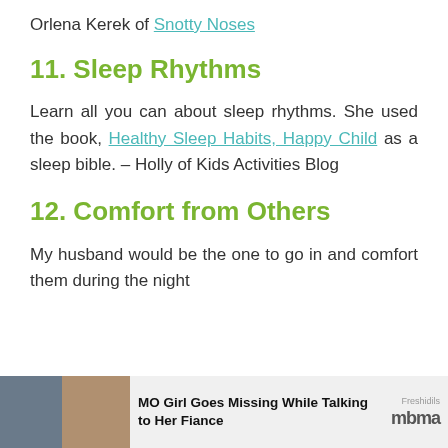Orlena Kerek of Snotty Noses
11. Sleep Rhythms
Learn all you can about sleep rhythms. She used the book, Healthy Sleep Habits, Happy Child as a sleep bible. – Holly of Kids Activities Blog
12. Comfort from Others
My husband would be the one to go in and comfort them during the night
[Figure (infographic): Ad banner at the bottom: photo of two people on the left, text 'MO Girl Goes Missing While Talking to Her Fiance' in the middle, Freshidils and mbma logo on the right]